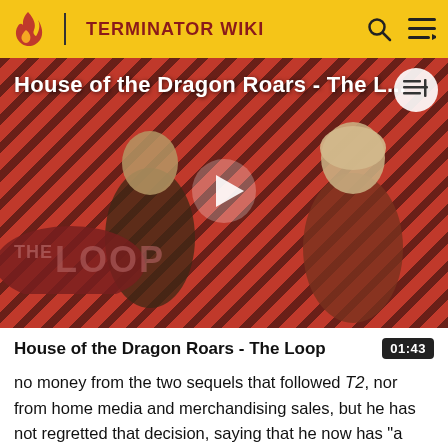TERMINATOR WIKI
[Figure (screenshot): Video thumbnail for 'House of the Dragon Roars - The Loop' showing two characters from the show against a red diagonal striped background with THE LOOP logo and a play button in the center]
House of the Dragon Roars - The Loop
no money from the two sequels that followed T2, nor from home media and merchandising sales, but he has not regretted that decision, saying that he now has "a